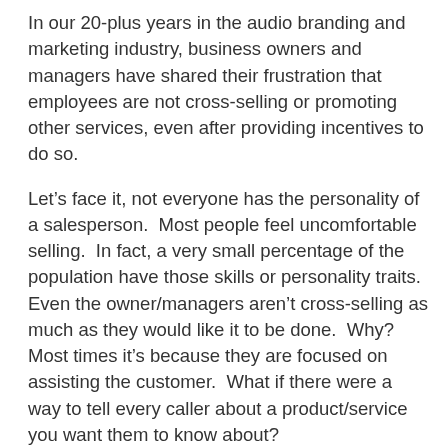In our 20-plus years in the audio branding and marketing industry, business owners and managers have shared their frustration that employees are not cross-selling or promoting other services, even after providing incentives to do so.
Let's face it, not everyone has the personality of a salesperson.  Most people feel uncomfortable selling.  In fact, a very small percentage of the population have those skills or personality traits.  Even the owner/managers aren't cross-selling as much as they would like it to be done.  Why?  Most times it's because they are focused on assisting the customer.  What if there were a way to tell every caller about a product/service you want them to know about?